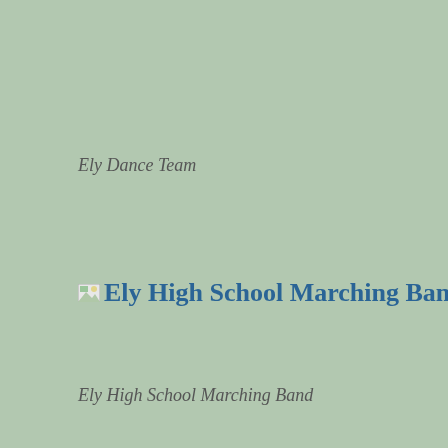Ely Dance Team
[Figure (other): Broken image placeholder with alt text 'Ely High School Marching Band' shown as a blue hyperlink-style text with small image icon]
Ely High School Marching Band